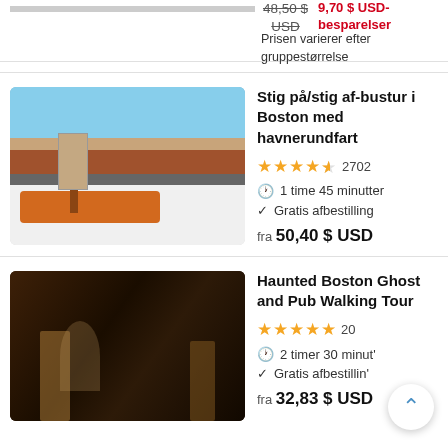48,50 $ USD (strikethrough)   9,70 $ USD-besparelser
Prisen varierer efter gruppestørrelse
Stig på/stig af-bustur i Boston med havnerundfart
★★★★½ 2702
1 time 45 minutter
Gratis afbestilling
fra 50,40 $ USD
Haunted Boston Ghost and Pub Walking Tour
★★★★★ 20
2 timer 30 minutter
Gratis afbestilling
fra 32,83 $ USD